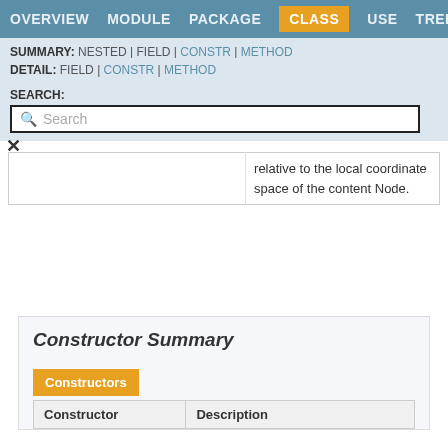OVERVIEW  MODULE  PACKAGE  CLASS  USE  TREE
SUMMARY: NESTED | FIELD | CONSTR | METHOD
DETAIL: FIELD | CONSTR | METHOD
SEARCH:
Search
|  | Description |
| --- | --- |
|  | relative to the local coordinate space of the content Node. |
Constructor Summary
| Constructor | Description |
| --- | --- |